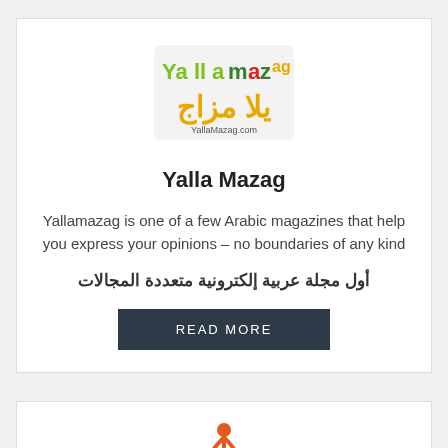[Figure (logo): Yalla Mazag logo with green and yellow Arabic and English text on a light background, showing 'YallaMazag' and 'YallaMazag.com']
Yalla Mazag
Yallamazag is one of a few Arabic magazines that help you express your opinions – no boundaries of any kind
أول مجلة عربية إلكترونية متعددة المجالات
READ MORE
[Figure (logo): Partial logo visible at bottom of page, orange figure/person silhouette]